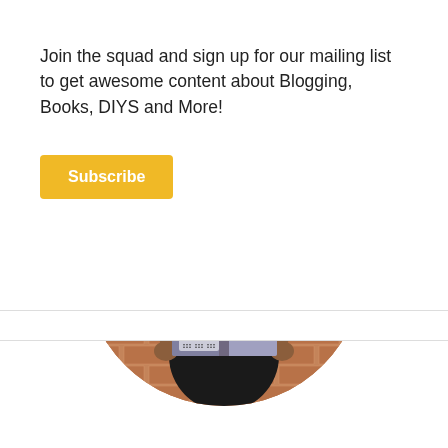Join the squad and sign up for our mailing list to get awesome content about Blogging, Books, DIYS and More!
Subscribe
[Figure (photo): Person holding up a copy of 'The Outsiders' book covering their face, standing in front of a brick wall with gold star confetti, cropped in a circle.]